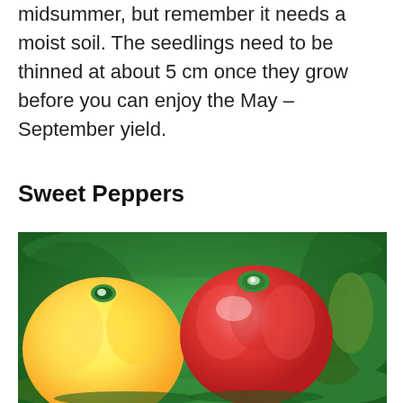midsummer, but remember it needs a moist soil. The seedlings need to be thinned at about 5 cm once they grow before you can enjoy the May – September yield.
Sweet Peppers
[Figure (photo): A yellow bell pepper on the left and a red bell pepper in the center, both resting on green leafy herbs/parsley, set against a blurred green background.]